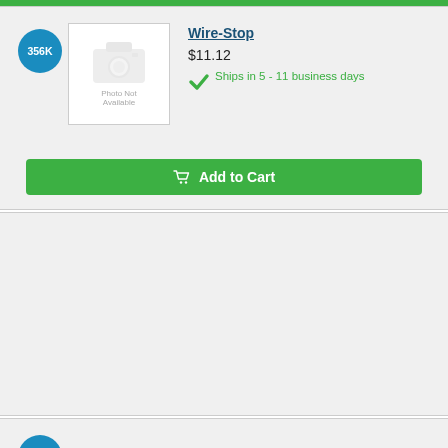[Figure (screenshot): Top green bar across the page]
356K
[Figure (photo): Photo Not Available placeholder image for Wire-Stop part]
Wire-Stop
$11.12
Ships in 5 - 11 business days
Add to Cart
364A
[Figure (photo): Black Terminal-Oil Plug part photo]
Terminal-Oil Plug
$7.41
Ships in 5 - 11 business days
Add to Cart
474A
[Figure (photo): Partial photo of Alternator part]
Alternator